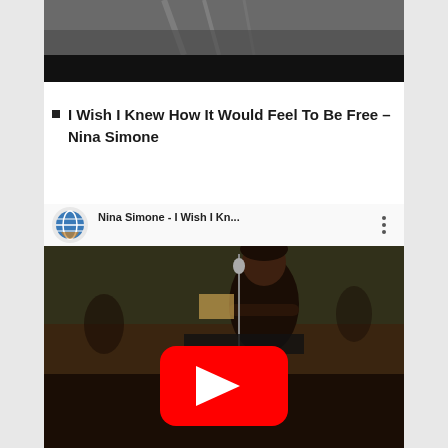[Figure (photo): Partial top image, appears dark/concert related, clipped at bottom with black bar]
I Wish I Knew How It Would Feel To Be Free – Nina Simone
[Figure (screenshot): YouTube video thumbnail showing Nina Simone playing piano, with YouTube play button overlay. Title bar reads 'Nina Simone - I Wish I Kn...' with a globe/hands emoji icon and three-dot menu.]